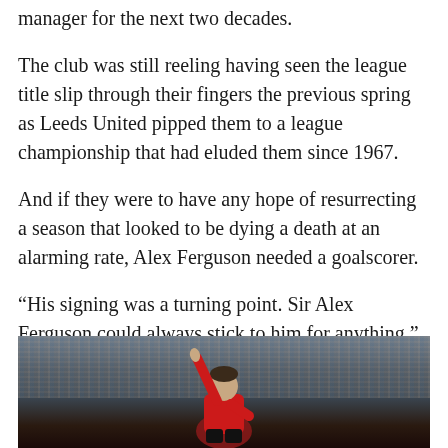manager for the next two decades.
The club was still reeling having seen the league title slip through their fingers the previous spring as Leeds United pipped them to a league championship that had eluded them since 1967.
And if they were to have any hope of resurrecting a season that looked to be dying a death at an alarming rate, Alex Ferguson needed a goalscorer.
“His signing was a turning point. Sir Alex Ferguson could always stick to him for anything,” says Alan from United Journal.
[Figure (photo): A footballer in a red shirt pointing one finger upward toward the crowd in a stadium]